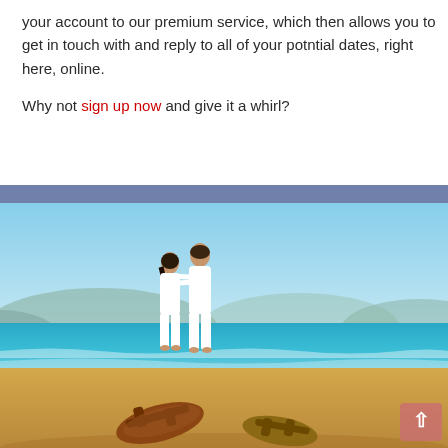your account to our premium service, which then allows you to get in touch with and reply to all of your potntial dates, right here, online.

Why not sign up now and give it a whirl?
[Figure (photo): A couple standing on a sandy beach looking out at the turquoise sea, wearing white clothes, with sandals in the foreground on the sand. Mountains visible in the background. A back-to-top arrow button is visible in the bottom right corner.]